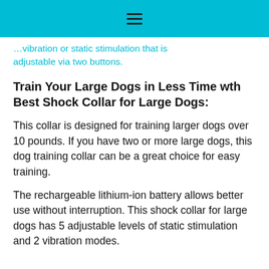≡
…vibration or static stimulation that is adjustable via two buttons.
Train Your Large Dogs in Less Time wth Best Shock Collar for Large Dogs:
This collar is designed for training larger dogs over 10 pounds. If you have two or more large dogs, this dog training collar can be a great choice for easy training.
The rechargeable lithium-ion battery allows better use without interruption. This shock collar for large dogs has 5 adjustable levels of static stimulation and 2 vibration modes.